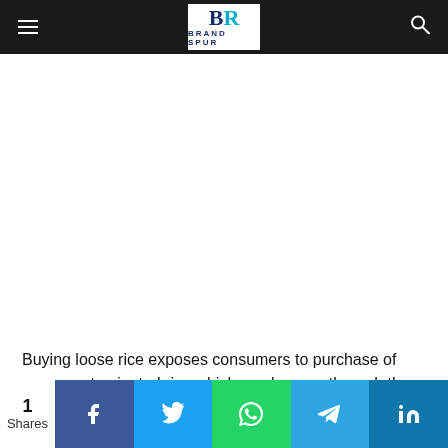Brand Spur
[Figure (other): Advertisement / blank white space placeholder]
Buying loose rice exposes consumers to purchase of cross contaminated rice which can happen through the transfer of bacteria or other microorganisms from other substances to rice. There are three main types of cross contamination:
1 Shares | Facebook | Twitter | WhatsApp | Telegram | LinkedIn